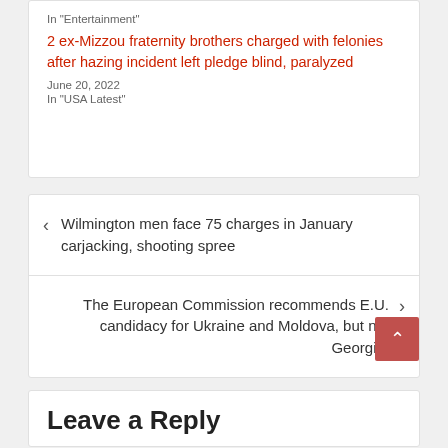In "Entertainment"
2 ex-Mizzou fraternity brothers charged with felonies after hazing incident left pledge blind, paralyzed
June 20, 2022
In "USA Latest"
Wilmington men face 75 charges in January carjacking, shooting spree
The European Commission recommends E.U. candidacy for Ukraine and Moldova, but not Georgia.
Leave a Reply